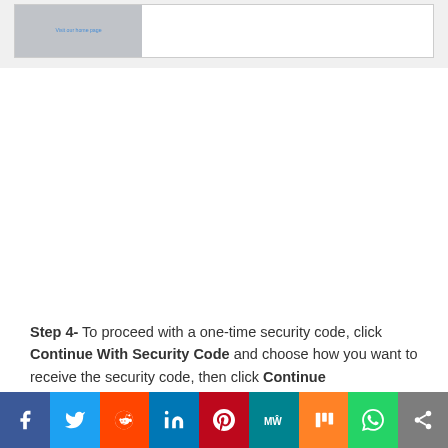[Figure (screenshot): A UI card/form element with a gray left panel containing small blue link text and a white right panel, set inside a light gray background box.]
Step 4- To proceed with a one-time security code, click Continue With Security Code and choose how you want to receive the security code, then click Continue
[Figure (infographic): Social sharing bar with icons: Facebook (blue), Twitter (light blue), Reddit (orange-red), LinkedIn (dark blue), Pinterest (red), MeWe (teal), Mix (orange), WhatsApp (green), Share (gray).]